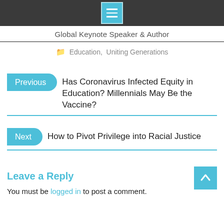Global Keynote Speaker & Author
Education, Uniting Generations
Previous | Has Coronavirus Infected Equity in Education? Millennials May Be the Vaccine?
Next | How to Pivot Privilege into Racial Justice
Leave a Reply
You must be logged in to post a comment.